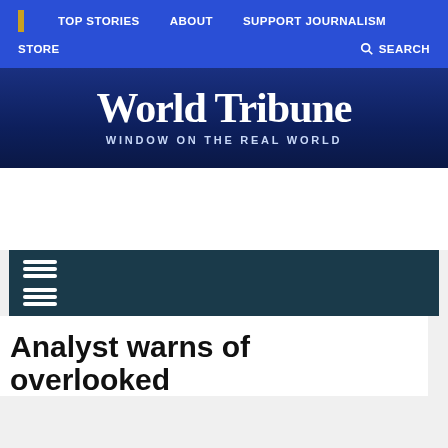TOP STORIES   ABOUT   SUPPORT JOURNALISM   STORE   SEARCH
[Figure (logo): World Tribune newspaper logo with blackletter text 'World Tribune' and tagline 'WINDOW ON THE REAL WORLD' on a dark navy blue background]
Analyst warns of overlooked